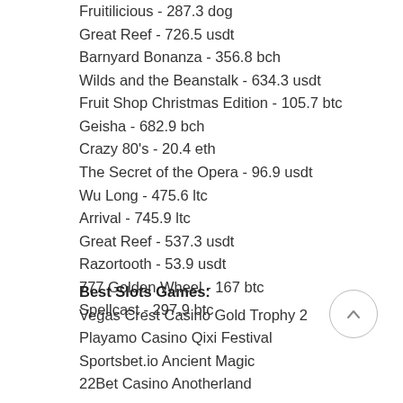Fruitilicious - 287.3 dog
Great Reef - 726.5 usdt
Barnyard Bonanza - 356.8 bch
Wilds and the Beanstalk - 634.3 usdt
Fruit Shop Christmas Edition - 105.7 btc
Geisha - 682.9 bch
Crazy 80's - 20.4 eth
The Secret of the Opera - 96.9 usdt
Wu Long - 475.6 ltc
Arrival - 745.9 ltc
Great Reef - 537.3 usdt
Razortooth - 53.9 usdt
777 Golden Wheel - 167 btc
Spellcast - 297.9 btc
Best Slots Games:
Vegas Crest Casino Gold Trophy 2
Playamo Casino Qixi Festival
Sportsbet.io Ancient Magic
22Bet Casino Anotherland